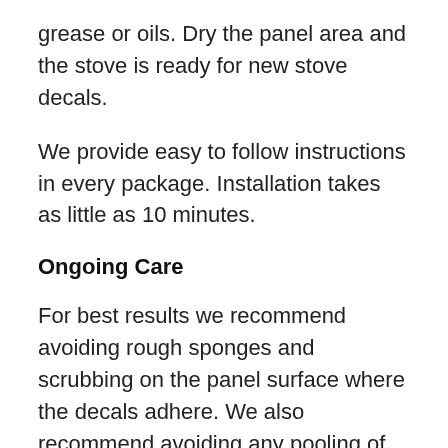grease or oils. Dry the panel area and the stove is ready for new stove decals.
We provide easy to follow instructions in every package. Installation takes as little as 10 minutes.
Ongoing Care
For best results we recommend avoiding rough sponges and scrubbing on the panel surface where the decals adhere. We also recommend avoiding any pooling of liquids on the panel surface – using a microfiber towel and carefully cleaning around the decals will help ensure your